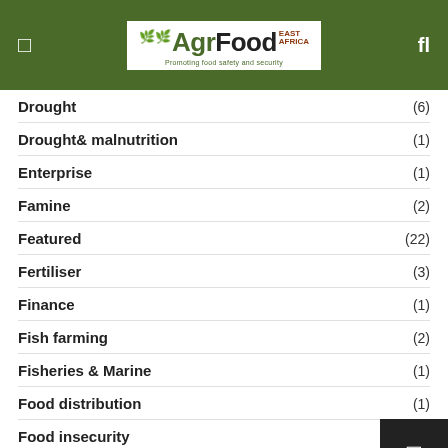AgrFood East Africa – Promoting food safety and security
Drought (6)
Drought& malnutrition (1)
Enterprise (1)
Famine (2)
Featured (22)
Fertiliser (3)
Finance (1)
Fish farming (2)
Fisheries & Marine (1)
Food distribution (1)
Food insecurity (2)
Food policy
Food Processing (8)
Food safety (1)